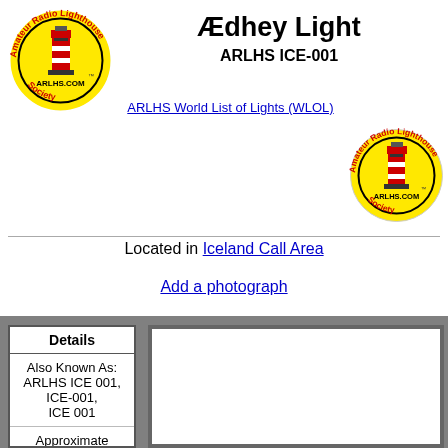[Figure (logo): ARLHS Amateur Radio Lighthouse Society circular logo with red lighthouse on yellow background, left side]
Ædhey Light
ARLHS ICE-001
ARLHS World List of Lights (WLOL)
[Figure (logo): ARLHS Amateur Radio Lighthouse Society circular logo with red lighthouse on yellow background, right side]
Located in Iceland Call Area
Add a photograph
| Details |
| --- |
| Also Known As: ARLHS ICE 001, ICE-001, ICE 001 |
| Approximate Coordinates |